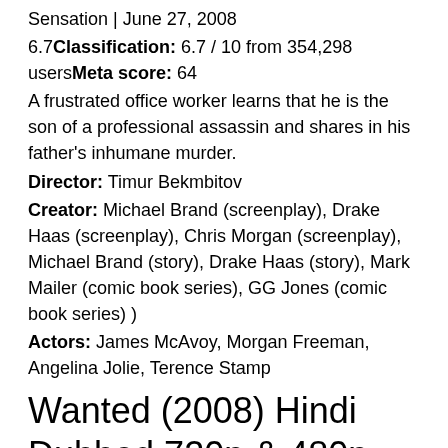Sensation | June 27, 2008
6.7Classification: 6.7 / 10 from 354,298 usersMeta score: 64
A frustrated office worker learns that he is the son of a professional assassin and shares in his father's inhumane murder.
Director: Timur Bekmbitov
Creator: Michael Brand (screenplay), Drake Haas (screenplay), Chris Morgan (screenplay), Michael Brand (story), Drake Haas (story), Mark Mailer (comic book series), GG Jones (comic book series) )
Actors: James McAvoy, Morgan Freeman, Angelina Jolie, Terence Stamp
Wanted (2008) Hindi Dubbed 720p & 480p ~ Download Movieflix.uno